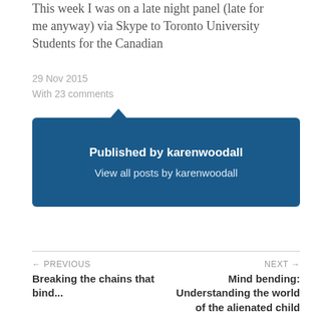This week I was on a late night panel (late for me anyway) via Skype to Toronto University Students for the Canadian
29 Nov 2015
With 23 comments
Published by karenwoodall
View all posts by karenwoodall
← PREVIOUS
Breaking the chains that bind...
NEXT →
Mind bending: Understanding the world of the alienated child